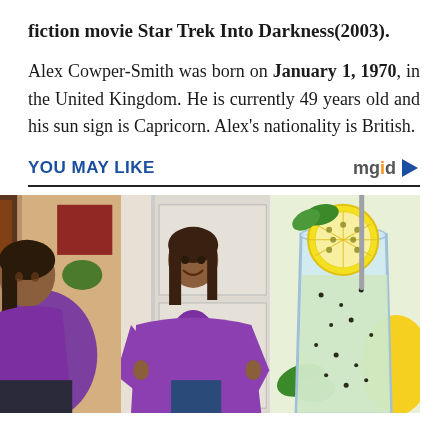fiction movie Star Trek Into Darkness(2003).
Alex Cowper-Smith was born on January 1, 1970, in the United Kingdom. He is currently 49 years old and his sun sign is Capricorn. Alex’s nationality is British.
YOU MAY LIKE
[Figure (photo): Three-panel advertisement image: left panel shows a heavy-set woman in purple shirt viewed from the side; center panel shows a slimmer woman in purple shirt holding out the oversized shirt; right panel shows a glass of water with a lemon slice and chia seeds, with mint leaves and lemon in the background.]